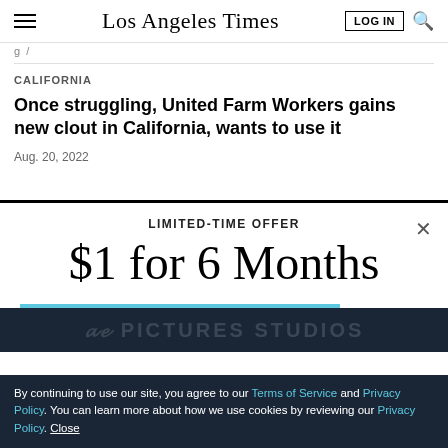Los Angeles Times
CALIFORNIA
Once struggling, United Farm Workers gains new clout in California, wants to use it
Aug. 20, 2022
LIMITED-TIME OFFER
$1 for 6 Months
SUBSCRIBE NOW
By continuing to use our site, you agree to our Terms of Service and Privacy Policy. You can learn more about how we use cookies by reviewing our Privacy Policy. Close